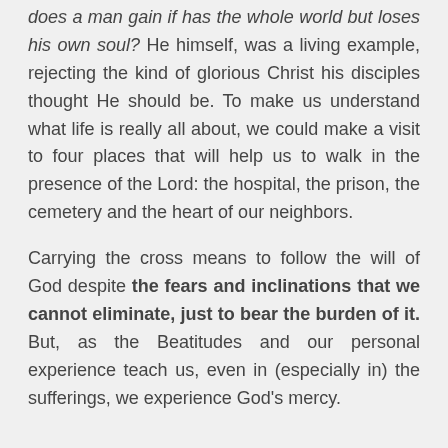does a man gain if has the whole world but loses his own soul? He himself, was a living example, rejecting the kind of glorious Christ his disciples thought He should be. To make us understand what life is really all about, we could make a visit to four places that will help us to walk in the presence of the Lord: the hospital, the prison, the cemetery and the heart of our neighbors.
Carrying the cross means to follow the will of God despite the fears and inclinations that we cannot eliminate, just to bear the burden of it. But, as the Beatitudes and our personal experience teach us, even in (especially in) the sufferings, we experience God's mercy.